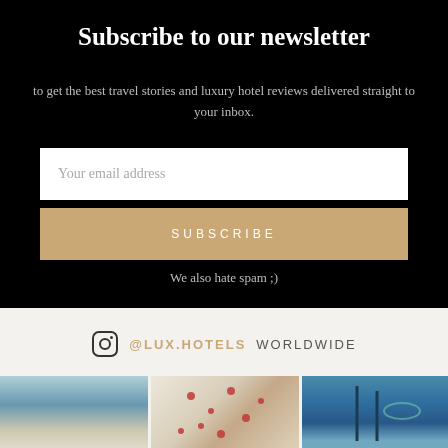Subscribe to our newsletter
to get the best travel stories and luxury hotel reviews delivered straight to your inbox.
Your email address
SUBSCRIBE
We also hate spam ;)
@LUX.HOTELS WORLDWIDE
[Figure (photo): Three travel/hotel lifestyle photos showing coastal scenery, food with berries, and a pool with ocean view]
[Figure (photo): Instagram logo icon]
[Figure (photo): Food close-up photo with berries/garnishes]
[Figure (photo): Pool/ocean view photo]